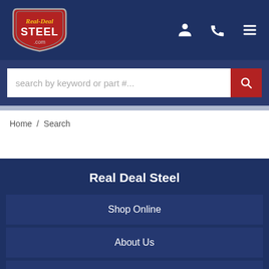[Figure (logo): Real-Deal Steel .com logo — red shield shape with chrome border, 'Real-Deal' in gold script, 'STEEL' in white bold letters]
[Figure (other): Header navigation icons: person/account icon, phone icon, hamburger menu icon — all white on navy background]
[Figure (other): Search bar with placeholder 'search by keyword or part #...' and red search button with magnifying glass icon]
Home / Search
Real Deal Steel
Shop Online
About Us
What We Do